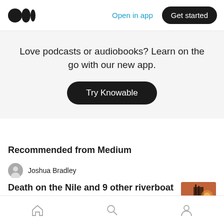Open in app  Get started
Love podcasts or audiobooks? Learn on the go with our new app.
Try Knowable
Recommended from Medium
Joshua Bradley
Death on the Nile and 9 other riverboat
Home  Search  Profile